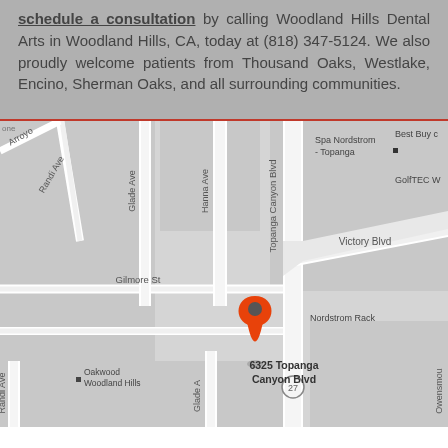schedule a consultation by calling Woodland Hills Dental Arts in Woodland Hills, CA, today at (818) 347-5124. We also proudly welcome patients from Thousand Oaks, Westlake, Encino, Sherman Oaks, and all surrounding communities.
[Figure (map): Google Maps screenshot showing the location of 6325 Topanga Canyon Blvd in Woodland Hills, CA. Streets visible include Topanga Canyon Blvd, Victory Blvd, Gilmore St, Hanna Ave, Glade Ave, Randi Ave, Arroyo (stone), and nearby landmarks Spa Nordstrom Topanga, Best Buy, GolfTEC W, Nordstrom Rack, Oakwood Woodland Hills. An orange location pin marks 6325 Topanga Canyon Blvd.]